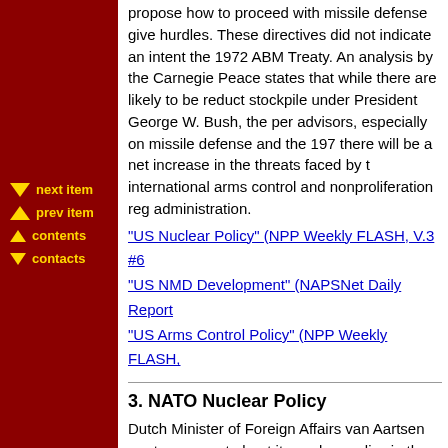propose how to proceed with missile defense given hurdles. These directives did not indicate an intent to withdraw from the 1972 ABM Treaty. An analysis by the Carnegie Endowment for Peace states that while there are likely to be reductions in the stockpile under President George W. Bush, the perspectives of his advisors, especially on missile defense and the 1972 ABM Treaty, there will be a net increase in the threats faced by the international arms control and nonproliferation regime by his administration.
"US Nuclear Policy" (NPP Weekly FLASH, V.3 #6)
"US NMD Development" (NAPSNet Daily Report)
"US Arms Control Policy" (NPP Weekly FLASH, ...)
next item
prev item
contents
contacts
3. NATO Nuclear Policy
Dutch Minister of Foreign Affairs van Aartsen proposed NATO be transparent about its nuclear policy in the future, adding that the government has made no secret of its nuclear role and that the F-16 squadrons based at Volkel Air Base have a nuclear role.
"NATO Nuclear Policy" (NPP Weekly FLASH, V....)
Arms Control